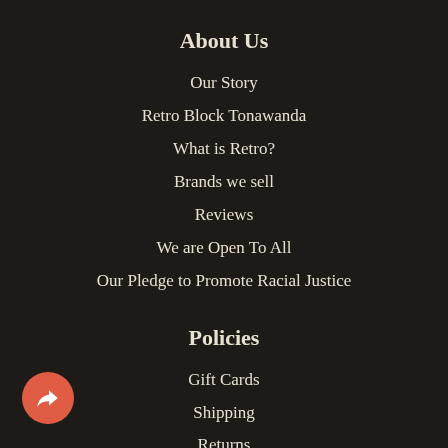About Us
Our Story
Retro Block Tonawanda
What is Retro?
Brands we sell
Reviews
We are Open To All
Our Pledge to Promote Racial Justice
Policies
Gift Cards
Shipping
Returns
Discount policy
Privacy Policy